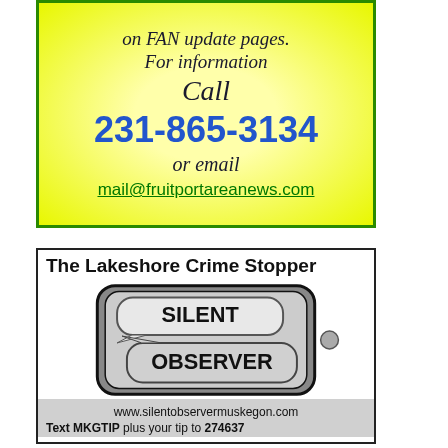[Figure (other): Yellow advertisement box with green border showing contact information: italic text 'on FAN update pages. For information Call', phone number '231-865-3134' in blue, 'or email' in italic, and green email link 'mail@fruitportareanews.com']
[Figure (other): The Lakeshore Crime Stopper advertisement with Silent Observer logo showing a smartphone with speech bubbles saying SILENT and OBSERVER, website www.silentobservermuskegon.com and text instruction 'Text MKGTIP plus your tip to 274637']